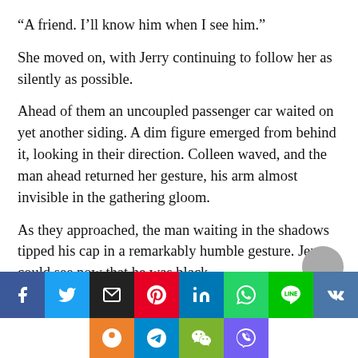“A friend. I’ll know him when I see him.”
She moved on, with Jerry continuing to follow her as silently as possible.
Ahead of them an uncoupled passenger car waited on yet another siding. A dim figure emerged from behind it, looking in their direction. Colleen waved, and the man ahead returned her gesture, his arm almost invisible in the gathering gloom.
As they approached, the man waiting in the shadows tipped his cap in a remarkably humble gesture. Jerry could see now that he was black,
[Figure (other): Social media sharing buttons row 1: Facebook (blue), Twitter (light blue), Email (black), Pinterest (red), LinkedIn (blue), WhatsApp (green), LINE (green), VK (blue). Row 2: Odnoklassniki (orange), Telegram (light blue), WeChat (green), Viber (purple).]